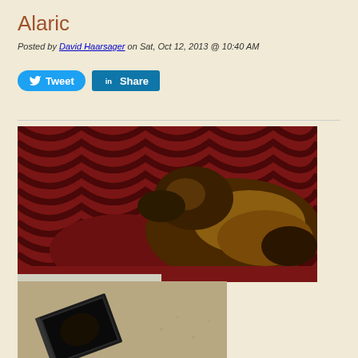Alaric
Posted by David Haarsager on Sat, Oct 12, 2013 @ 10:40 AM
[Figure (other): Social media buttons: Tweet button (blue, rounded) and Share button (LinkedIn blue, square corners)]
[Figure (photo): A cat (tortoiseshell/long-haired) lying on a red/maroon upholstered chair or sofa with patterned fabric background]
[Figure (photo): Partial view of what appears to be a CD or DVD case on a carpeted floor]